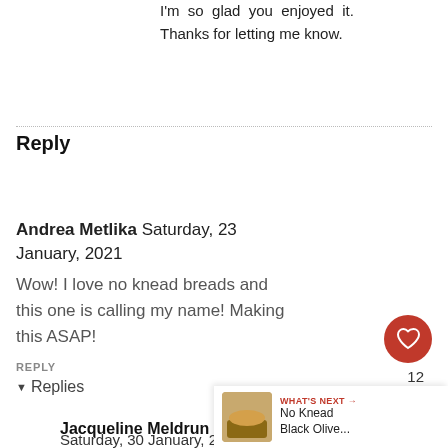I'm so glad you enjoyed it. Thanks for letting me know.
Reply
Andrea Metlika Saturday, 23 January, 2021
Wow! I love no knead breads and this one is calling my name! Making this ASAP!
REPLY
Replies
Jacqueline Meldrum Saturday, 30 January, 2021